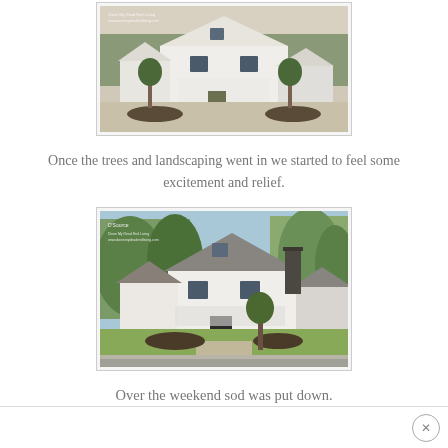[Figure (photo): A white farmhouse-style home with landscaping, trees planted along the front, circular mulched beds, viewed from the street. Partially cropped at top.]
Once the trees and landscaping went in we started to feel some excitement and relief.
[Figure (photo): A white farmhouse-style home with mature landscaping, green grass lawn, chimney visible on right side, blue sky background, viewed from the street.]
Over the weekend sod was put down.